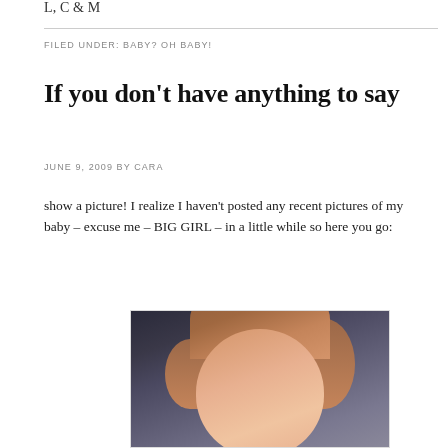L, C & M
FILED UNDER: BABY? OH BABY!
If you don't have anything to say
JUNE 9, 2009 BY CARA
show a picture! I realize I haven't posted any recent pictures of my baby – excuse me – BIG GIRL – in a little while so here you go:
[Figure (photo): Photo of a baby/toddler with reddish-brown curly hair, smiling at camera, against a dark background]